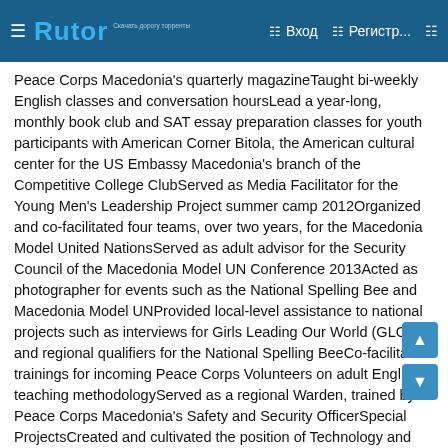Rutor — Вход — Регистр...
Peace Corps Macedonia's quarterly magazineTaught bi-weekly English classes and conversation hoursLead a year-long, monthly book club and SAT essay preparation classes for youth participants with American Corner Bitola, the American cultural center for the US Embassy Macedonia's branch of the Competitive College ClubServed as Media Facilitator for the Young Men's Leadership Project summer camp 2012Organized and co-facilitated four teams, over two years, for the Macedonia Model United NationsServed as adult advisor for the Security Council of the Macedonia Model UN Conference 2013Acted as photographer for events such as the National Spelling Bee and Macedonia Model UNProvided local-level assistance to national projects such as interviews for Girls Leading Our World (GLOW) and regional qualifiers for the National Spelling BeeCo-facilitated trainings for incoming Peace Corps Volunteers on adult English teaching methodologyServed as a regional Warden, trained by Peace Corps Macedonia's Safety and Security OfficerSpecial ProjectsCreated and cultivated the position of Technology and Public Relations Coordinator for the